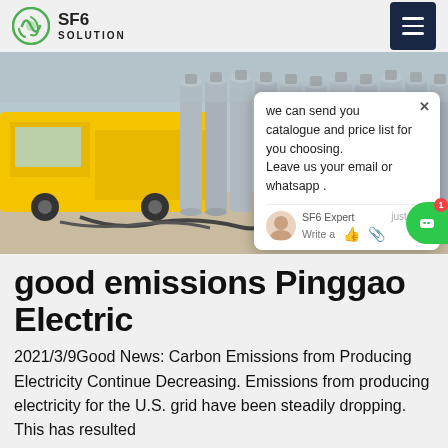SF6 SOLUTION
[Figure (photo): Industrial scene showing yellow trucks and rows of large gray gas cylinders (SF6 gas containers) in an outdoor industrial yard.]
good emissions Pinggao Electric
2021/3/9Good News: Carbon Emissions from Producing Electricity Continue Decreasing. Emissions from producing electricity for the U.S. grid have been steadily dropping. This has resulted